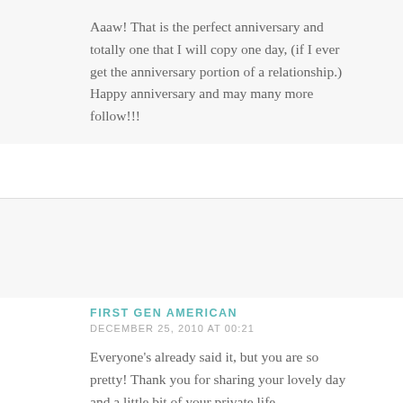Aaaw! That is the perfect anniversary and totally one that I will copy one day, (if I ever get the anniversary portion of a relationship.) Happy anniversary and may many more follow!!!
REPLY
FIRST GEN AMERICAN
DECEMBER 25, 2010 AT 00:21
Everyone's already said it, but you are so pretty! Thank you for sharing your lovely day and a little bit of your private life.
Have a wonderful holiday.